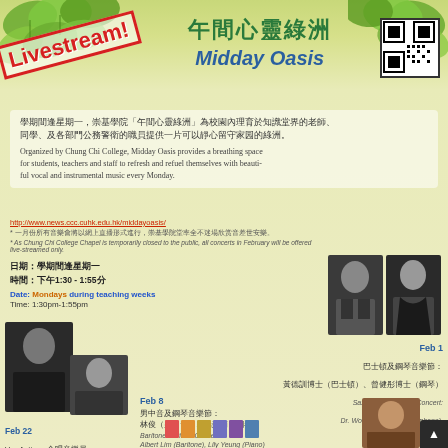Livestream! 午間心靈綠洲 Midday Oasis
學期間逢星期一，崇基學院「午間心靈綠洲」為校園內理育於知識堂界的老師、同學、及各部門公務警衛的職員提供一片可以靜心留守家园的綠洲。
Organized by Chung Chi College, Midday Oasis provides a breathing space for students, teachers and staff to refresh and refuel themselves with beautiful vocal and instrumental music every Monday.
http://www.news.ccc.cuhk.edu.hk/middayoasis/
* 一月份所有音樂會將以網上直播形式進行，崇基學院堂率全不迷場欣赏音差世安樂。
* As Chung Chi College Chapel is temporarily closed to the public, all concerts in February will be offered live-streamed only.
日期：學期間逢星期一
時間：下午1:30－1:55分
Date: Mondays during teaching weeks
Time: 1:30pm-1:55pm
Feb 1
巴士頓及鋼琴音樂節：
黃德訓博士（巴士頓）、曾健彤博士（鋼琴）
Saxophone & Piano Concert:
Dr. Wong Tak Chiu (Saxophone),
Dr. Cherry Tsang (Piano)
Feb 8
男中音及鋼琴音樂節：
林俊（男中音）、楊蘇莉（鋼琴）
Baritone & Piano Concert:
Albert Lim (Baritone), Lily Yeung (Piano)
Feb 22
Vox Antiqua 合唱音樂員：
Vox Antiqua（合唱團）。